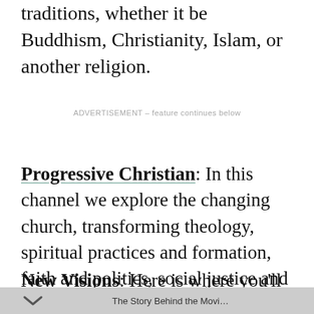traditions, whether it be Buddhism, Christianity, Islam, or another religion.
ADVERTISEMENT – feature continues below
Progressive Christian: In this channel we explore the changing church, transforming theology, spiritual practices and formation, faith and politics, social justice and so much more.
New Visions: Here is where you'll find spiritual practitioners that are exploring